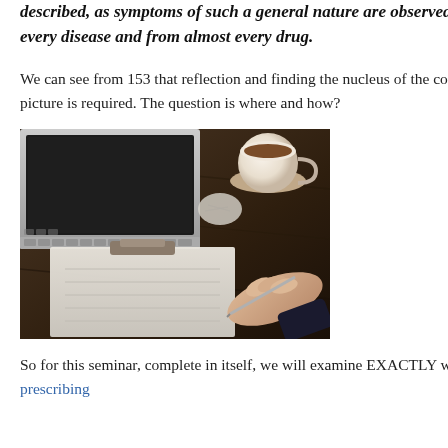described, as symptoms of such a general nature are observed in almost every disease and from almost every drug.
We can see from 153 that reflection and finding the nucleus of the complete disease picture is required. The question is where and how?
[Figure (photo): Photo of a person's hands writing on a clipboard on a dark wooden desk, with a laptop computer and a coffee cup visible in the background]
So for this seminar, complete in itself, we will examine EXACTLY where to look for prescribing
medical information
Forums
Guest Comment
Historical
Homeopathy
homeopathy training course
homoeopathy teaching
Homoeopathy
Hong Kong
I.H.M.
IHM boat.
IHM Register
Mainstream Attacks on